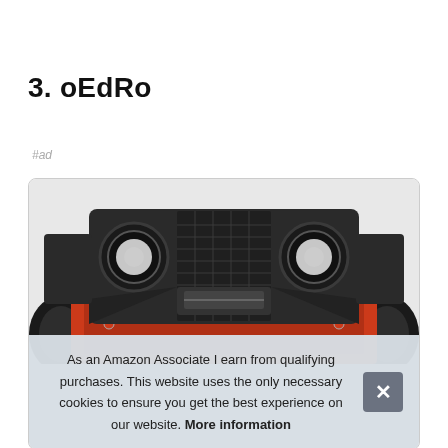3. oEdRo
#ad
[Figure (photo): Front view of a Jeep vehicle with dark mesh grille, round headlights, and a winch mounted on the front bumper. The vehicle has red accents on the bumper and large off-road tires.]
As an Amazon Associate I earn from qualifying purchases. This website uses the only necessary cookies to ensure you get the best experience on our website. More information